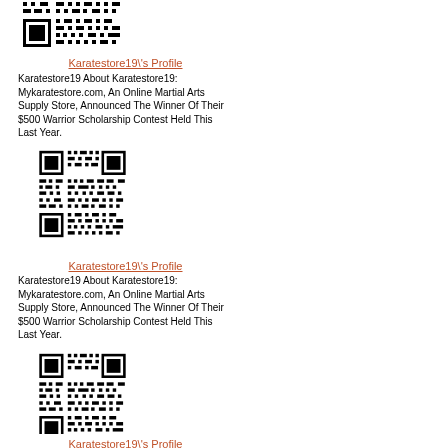[Figure (other): QR code image (partial, top cropped)]
Karatestore19\'s Profile
Karatestore19 About Karatestore19: Mykaratestore.com, An Online Martial Arts Supply Store, Announced The Winner Of Their $500 Warrior Scholarship Contest Held This Last Year.
[Figure (other): QR code image]
Karatestore19\'s Profile
Karatestore19 About Karatestore19: Mykaratestore.com, An Online Martial Arts Supply Store, Announced The Winner Of Their $500 Warrior Scholarship Contest Held This Last Year.
[Figure (other): QR code image]
Karatestore19\'s Profile